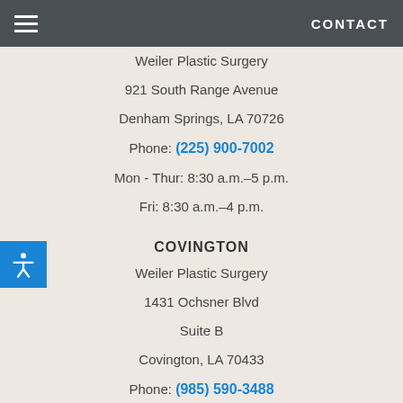CONTACT
Weiler Plastic Surgery
921 South Range Avenue
Denham Springs, LA 70726
Phone: (225) 900-7002
Mon - Thur: 8:30 a.m.–5 p.m.
Fri: 8:30 a.m.–4 p.m.
COVINGTON
Weiler Plastic Surgery
1431 Ochsner Blvd
Suite B
Covington, LA 70433
Phone: (985) 590-3488
Mon - Fri: 8:00 a.m.–4 p.m.